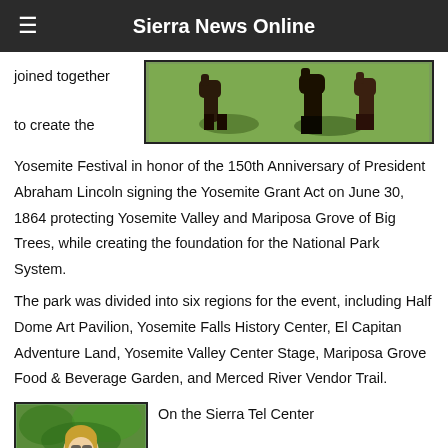Sierra News Online
joined together to create the
[Figure (photo): Horses or animals on green grass, outdoor scene]
Yosemite Festival in honor of the 150th Anniversary of President Abraham Lincoln signing the Yosemite Grant Act on June 30, 1864 protecting Yosemite Valley and Mariposa Grove of Big Trees, while creating the foundation for the National Park System.
The park was divided into six regions for the event, including Half Dome Art Pavilion, Yosemite Falls History Center, El Capitan Adventure Land, Yosemite Valley Center Stage, Mariposa Grove Food & Beverage Garden, and Merced River Vendor Trail.
[Figure (photo): A blond woman outdoors among green trees]
On the Sierra Tel Center Stage guests witnessed a performance by Native